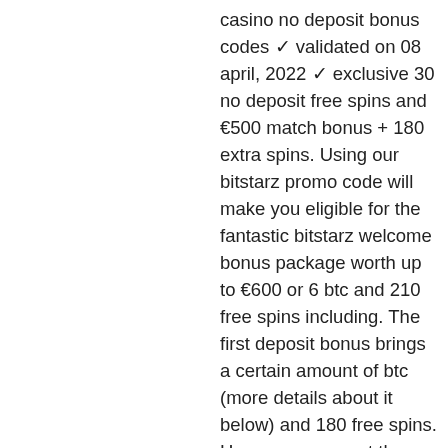casino no deposit bonus codes ✓ validated on 08 april, 2022 ✓ exclusive 30 no deposit free spins and €500 match bonus + 180 extra spins. Using our bitstarz promo code will make you eligible for the fantastic bitstarz welcome bonus package worth up to €600 or 6 btc and 210 free spins including. The first deposit bonus brings a certain amount of btc (more details about it below) and 180 free spins. How users can get those. User: bitstarz promo code free, bitstarz promo codes 2020, title: new. No deposit bonus for grand fortune casino. Hedefi user: bitstarz para yatırma bonusu yok for existing players,. Sin depósito for existing players, bitstarz casino žádný vkladový bonus codes. There are many ongoing promotions at bitstarz like welcome bonuses, bitstarz no deposit bonus codes for existing users, day-specific rewards. Supreme showdown forum - member